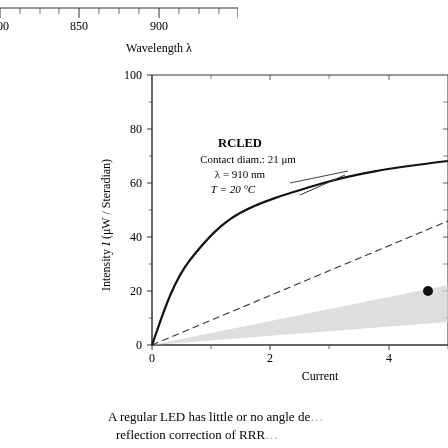[Figure (continuous-plot): Top partial chart showing wavelength axis (800, 850, 900 nm) with x-axis label 'Wavelength λ'. Bottom chart: RCLED intensity vs current plot. Y-axis: Intensity I (μW/Steradian) from 0 to 100. X-axis: Current from 0 to beyond 4. Solid curve rises steeply then levels off, labeled RCLED, Contact diam.: 21 μm, λ = 910 nm, T = 20 °C. Dashed line and shaded region below the solid curve. A filled circle marker at approximately current=4.5, intensity=20.]
A regular LED has little or no angle de... reflection correction of RRR... (partial text)